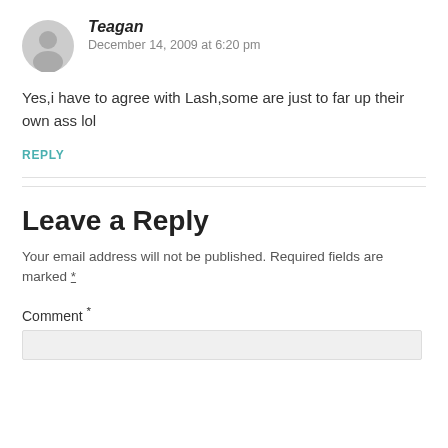[Figure (illustration): Gray circular avatar icon with silhouette of a person]
Teagan
December 14, 2009 at 6:20 pm
Yes,i have to agree with Lash,some are just to far up their own ass lol
REPLY
Leave a Reply
Your email address will not be published. Required fields are marked *
Comment *